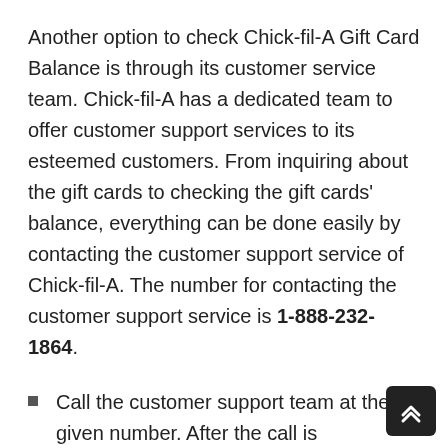Another option to check Chick-fil-A Gift Card Balance is through its customer service team. Chick-fil-A has a dedicated team to offer customer support services to its esteemed customers. From inquiring about the gift cards to checking the gift cards' balance, everything can be done easily by contacting the customer support service of Chick-fil-A. The number for contacting the customer support service is 1-888-232-1864.
Call the customer support team at the given number. After the call is connected, the representative will assist you with the process.
You have to listen to their instructions carefully.
For gift card-related queries, you have to choose the right helpline number.
When prompted, you need to carefully enter the